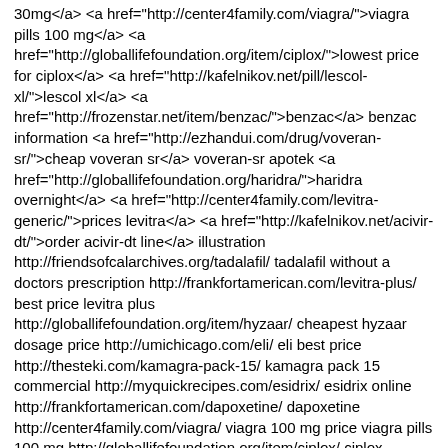30mg</a> <a href="http://center4family.com/viagra/">viagra pills 100 mg</a> <a href="http://globallifefoundation.org/item/ciplox/">lowest price for ciplox</a> <a href="http://kafelnikov.net/pill/lescol-xl/">lescol xl</a> <a href="http://frozenstar.net/item/benzac/">benzac</a> benzac information <a href="http://ezhandui.com/drug/voveran-sr/">cheap voveran sr</a> voveran-sr apotek <a href="http://globallifefoundation.org/haridra/">haridra overnight</a> <a href="http://center4family.com/levitra-generic/">prices levitra</a> <a href="http://kafelnikov.net/acivir-dt/">order acivir-dt line</a> illustration http://friendsofcalarchives.org/tadalafil/ tadalafil without a doctors prescription http://frankfortamerican.com/levitra-plus/ best price levitra plus http://globallifefoundation.org/item/hyzaar/ cheapest hyzaar dosage price http://umichicago.com/eli/ eli best price http://thesteki.com/kamagra-pack-15/ kamagra pack 15 commercial http://myquickrecipes.com/esidrix/ esidrix online http://frankfortamerican.com/dapoxetine/ dapoxetine http://center4family.com/viagra/ viagra 100 mg price viagra pills 100 mg http://globallifefoundation.org/item/ciplox/ ciplox http://kafelnikov.net/pill/lescol-xl/ lescol xl on line http://frozenstar.net/item/benzac/ benzac non generic http://ezhandui.com/drug/voveran-sr/ voveran sr